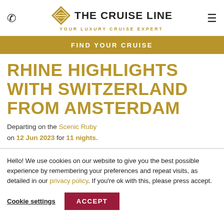THE CRUISE LINE — YOUR LUXURY CRUISE EXPERT
FIND YOUR CRUISE
RHINE HIGHLIGHTS WITH SWITZERLAND FROM AMSTERDAM
Departing on the Scenic Ruby on 12 Jun 2023 for 11 nights.
Hello! We use cookies on our website to give you the best possible experience by remembering your preferences and repeat visits, as detailed in our privacy policy. If you're ok with this, please press accept.
Cookie settings | ACCEPT